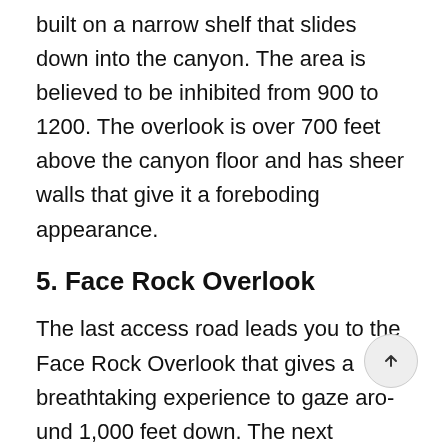built on a narrow shelf that slides down into the canyon. The area is believed to be inhibited from 900 to 1200. The overlook is over 700 feet above the canyon floor and has sheer walls that give it a foreboding appearance.
5. Face Rock Overlook
The last access road leads you to the Face Rock Overlook that gives a breathtaking experience to gaze around 1,000 feet down. The next overlook is the Spider Rock Overlook that has the most